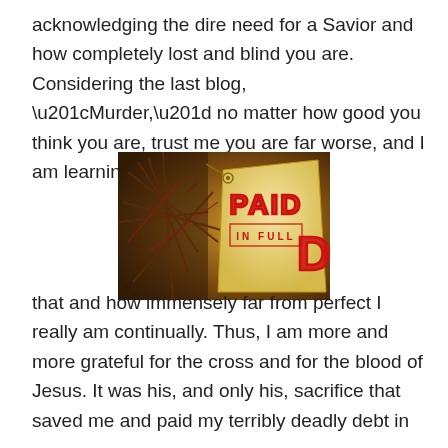acknowledging the dire need for a Savior and how completely lost and blind you are. Considering the last blog, “Murder,” no matter how good you think you are, trust me you are far worse, and I am learning
[Figure (photo): A photograph of a crown of thorns with a tan price tag stamped with 'PAID IN FULL' in large red letters.]
that and how immensely far from perfect I really am continually. Thus, I am more and more grateful for the cross and for the blood of Jesus. It was his, and only his, sacrifice that saved me and paid my terribly deadly debt in